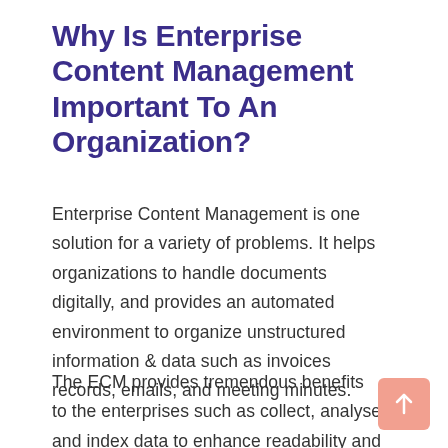Why Is Enterprise Content Management Important To An Organization?
Enterprise Content Management is one solution for a variety of problems. It helps organizations to handle documents digitally, and provides an automated environment to organize unstructured information & data such as invoices records, emails, and meeting minutes.
The ECM provides tremendous benefits to the enterprises such as collect, analyse and index data to enhance readability and